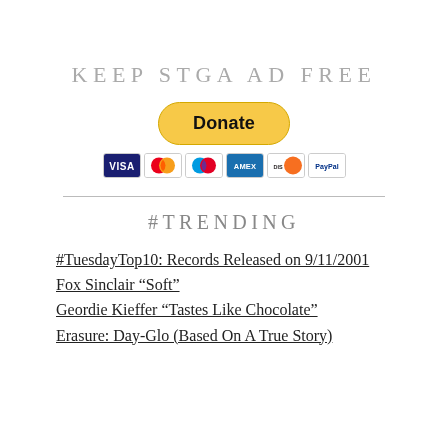KEEP STGA AD FREE
[Figure (other): PayPal Donate button with payment card icons (Visa, Mastercard, Maestro, American Express, Discover, PayPal)]
#TRENDING
#TuesdayTop10: Records Released on 9/11/2001
Fox Sinclair “Soft”
Geordie Kieffer “Tastes Like Chocolate”
Erasure: Day-Glo (Based On A True Story)